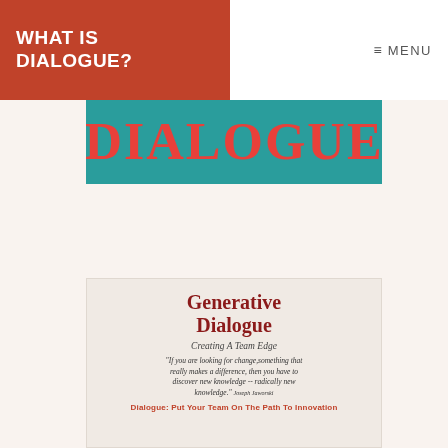WHAT IS DIALOGUE?
MENU
[Figure (illustration): Teal banner with red text reading 'Dialogue' in large serif font]
[Figure (illustration): Book cover for 'Generative Dialogue: Creating A Team Edge' with quote and subtitle 'Dialogue: Put Your Team On The Path To Innovation']